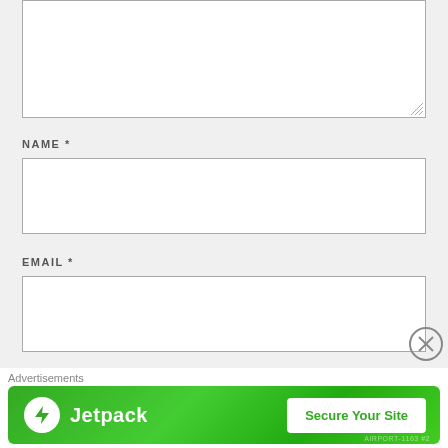[Figure (screenshot): Partial textarea (comment box) at top of page, clipped at top]
NAME *
[Figure (screenshot): Name input field — empty text input box]
EMAIL *
[Figure (screenshot): Email input field — empty text input box]
WEBSITE
[Figure (screenshot): Website input field — empty text input box, partially clipped at bottom]
Advertisements
[Figure (screenshot): Jetpack advertisement banner with logo and 'Secure Your Site' button on green background]